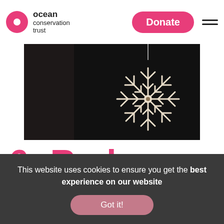[Figure (logo): Ocean Conservation Trust logo: pink circle with white inner circle, beside bold text 'ocean conservation trust']
[Figure (screenshot): Website header with Ocean Conservation Trust logo on left, pink rounded 'Donate' button in center, and hamburger menu icon on right]
[Figure (photo): Dark background photo with a white paper/decorative snowflake ornament hanging against a near-black background]
6.    Reduce.
This website uses cookies to ensure you get the best experience on our website
Got it!